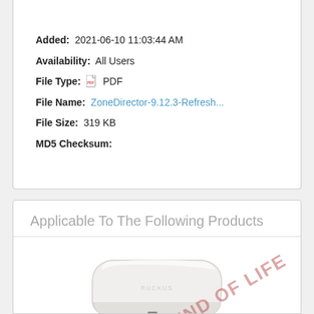Added: 2021-06-10 11:03:44 AM
Availability: All Users
File Type: PDF
File Name: ZoneDirector-9.12.3-Refresh...
File Size: 319 KB
MD5 Checksum:
Applicable To The Following Products
[Figure (photo): White wireless router / access point device (ZoneDirector hardware) with a watermark reading 'END OF LIFE' in red diagonal text]